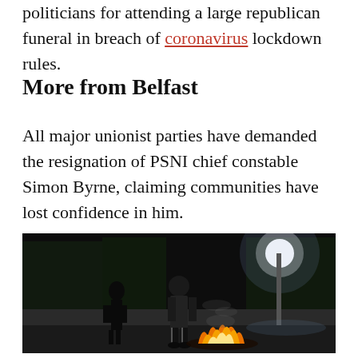politicians for attending a large republican funeral in breach of coronavirus lockdown rules.
More from Belfast
All major unionist parties have demanded the resignation of PSNI chief constable Simon Byrne, claiming communities have lost confidence in him.
[Figure (photo): Night-time street scene showing two silhouetted figures standing near a fire burning on the road, with a bright street light in the background and trees visible.]